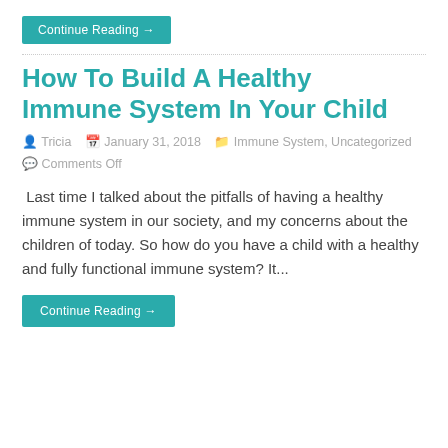Continue Reading →
How To Build A Healthy Immune System In Your Child
Tricia  January 31, 2018  Immune System, Uncategorized  Comments Off
Last time I talked about the pitfalls of having a healthy immune system in our society, and my concerns about the children of today. So how do you have a child with a healthy and fully functional immune system? It...
Continue Reading →